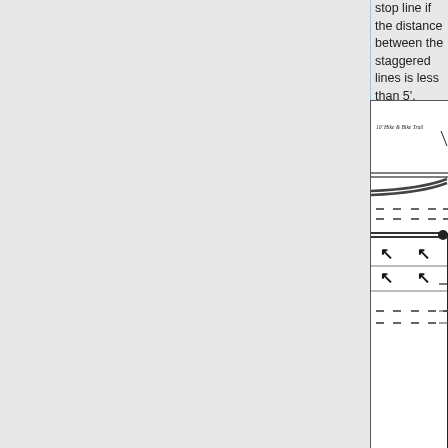stop line if the distance between the staggered lines is less than 5'.
[Figure (engineering-diagram): Road cross-section engineering diagram showing a 10' Hike & Bike Trail label with leader line, multiple lane markings with dashed lines, directional arrows pointing upper-left in two lanes, and horizontal road striping lines indicating lane separations and a curb or barrier on the right side.]